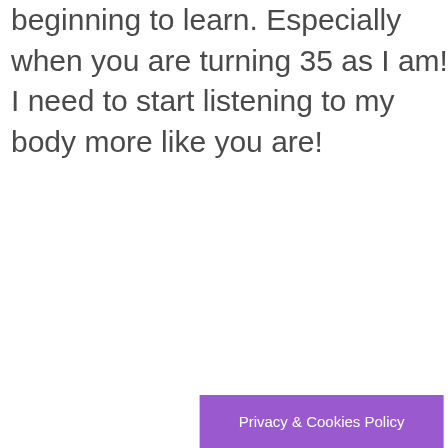beginning to learn. Especially when you are turning 35 as I am! I need to start listening to my body more like you are!
Privacy & Cookies Policy